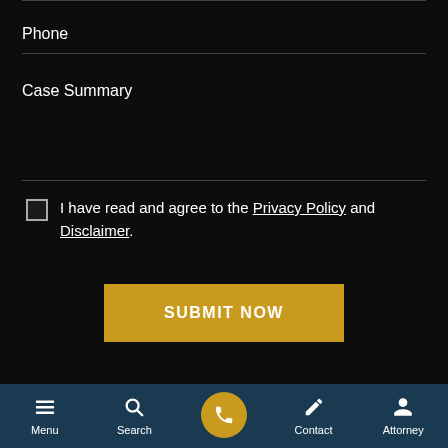Phone
Case Summary
I have read and agree to the Privacy Policy and Disclaimer.
SUBMIT NOW
Menu | Search | (phone) | Contact | Attorney